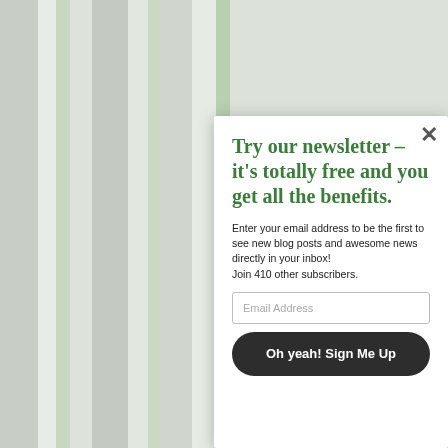[Figure (illustration): Green and grey vertical striped background pattern]
Try our newsletter – it's totally free and you get all the benefits.
Enter your email address to be the first to see new blog posts and awesome news directly in your inbox!
Join 410 other subscribers.
Email Address
Oh yeah! Sign Me Up